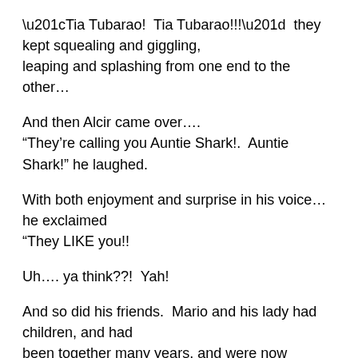“Tia Tubarao!  Tia Tubarao!!!”  they kept squealing and giggling,
leaping and splashing from one end to the other…
And then Alcir came over….
“They’re calling you Auntie Shark!.  Auntie Shark!” he laughed.
With both enjoyment and surprise in his voice…he exclaimed
“They LIKE you!!
Uh…. ya think??!  Yah!
And so did his friends.  Mario and his lady had children, and had
been together many years, and were now planning a